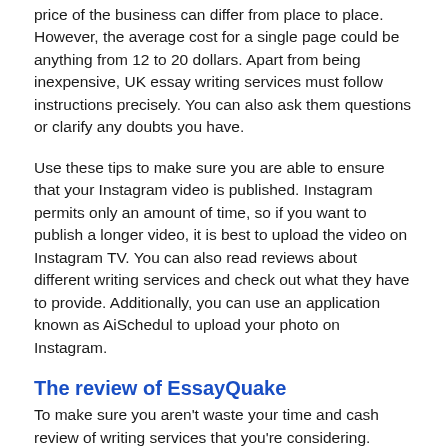price of the business can differ from place to place. However, the average cost for a single page could be anything from 12 to 20 dollars. Apart from being inexpensive, UK essay writing services must follow instructions precisely. You can also ask them questions or clarify any doubts you have.
Use these tips to make sure you are able to ensure that your Instagram video is published. Instagram permits only an amount of time, so if you want to publish a longer video, it is best to upload the video on Instagram TV. You can also read reviews about different writing services and check out what they have to provide. Additionally, you can use an application known as AiSchedul to upload your photo on Instagram.
The review of EssayQuake
To make sure you aren't waste your time and cash review of writing services that you're considering. Although many businesses claim to have good reviews, it's important to take